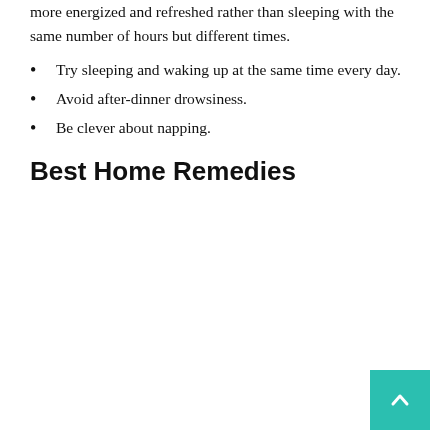more energized and refreshed rather than sleeping with the same number of hours but different times.
Try sleeping and waking up at the same time every day.
Avoid after-dinner drowsiness.
Be clever about napping.
Best Home Remedies